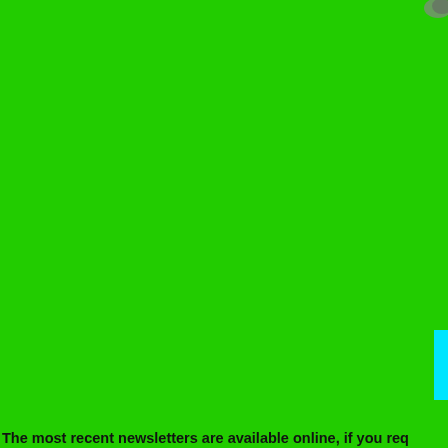[Figure (other): Mostly green background filling the page. A small grey/dark graphic element is partially visible in the top-right corner. A narrow cyan/turquoise vertical bar is visible near the bottom-right edge.]
The most recent newsletters are available online, if you req